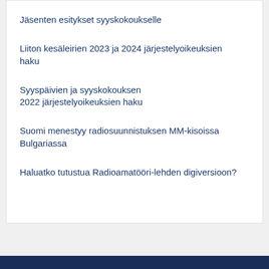Jäsenten esitykset syyskokoukselle
Liiton kesäleirien 2023 ja 2024 järjestelyoikeuksien haku
Syyspäivien ja syyskokouksen 2022 järjestelyoikeuksien haku
Suomi menestyy radiosuunnistuksen MM-kisoissa Bulgariassa
Haluatko tutustua Radioamatööri-lehden digiversioon?